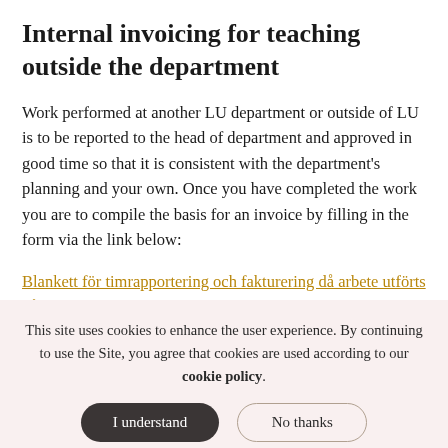Internal invoicing for teaching outside the department
Work performed at another LU department or outside of LU is to be reported to the head of department and approved in good time so that it is consistent with the department's planning and your own. Once you have completed the work you are to compile the basis for an invoice by filling in the form via the link below:
Blankett för timrapportering och fakturering då arbete utförts på annan institution vid Lunds universitet (PDF, in
This site uses cookies to enhance the user experience. By continuing to use the Site, you agree that cookies are used according to our cookie policy.